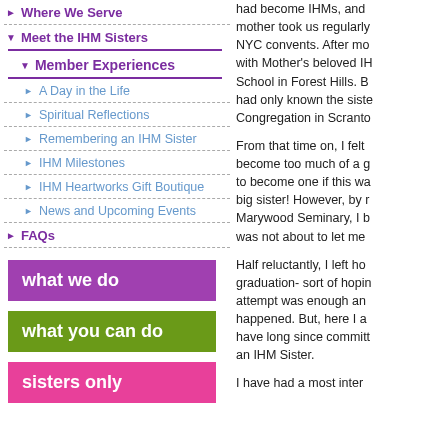Where We Serve
Meet the IHM Sisters
Member Experiences
A Day in the Life
Spiritual Reflections
Remembering an IHM Sister
IHM Milestones
IHM Heartworks Gift Boutique
News and Upcoming Events
FAQs
[Figure (other): Purple button: what we do]
[Figure (other): Green button: what you can do]
[Figure (other): Pink button: sisters only]
had become IHMs, and mother took us regularly NYC convents. After mo with Mother's beloved IH School in Forest Hills. B had only known the sist Congregation in Scranto
From that time on, I felt become too much of a g to become one if this wa big sister! However, by r Marywood Seminary, I b was not about to let me
Half reluctantly, I left ho graduation- sort of hopin attempt was enough an happened. But, here I a have long since committ an IHM Sister.
I have had a most inter